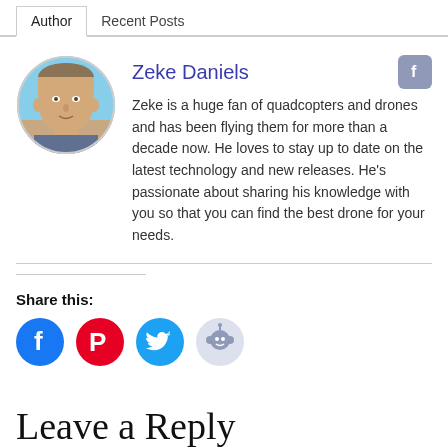Author | Recent Posts
[Figure (photo): Circular profile photo of Zeke Daniels, a middle-aged man with short hair, outdoors with blue sky background]
Zeke Daniels
Zeke is a huge fan of quadcopters and drones and has been flying them for more than a decade now. He loves to stay up to date on the latest technology and new releases. He's passionate about sharing his knowledge with you so that you can find the best drone for your needs.
Share this:
[Figure (illustration): Social share icons: Facebook (blue circle), Pinterest (red circle), Twitter (blue circle), Reddit (light gray circle)]
Leave a Reply